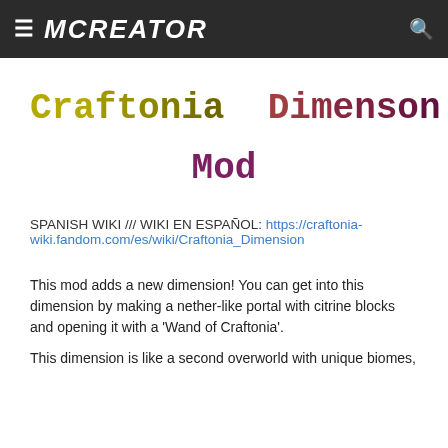≡ MCREATOR 🔍
Craftonia Dimenson Mod
SPANISH WIKI /// WIKI EN ESPAÑOL: https://craftonia-wiki.fandom.com/es/wiki/Craftonia_Dimension
This mod adds a new dimension! You can get into this dimension by making a nether-like portal with citrine blocks and opening it with a 'Wand of Craftonia'.
This dimension is like a second overworld with unique biomes,